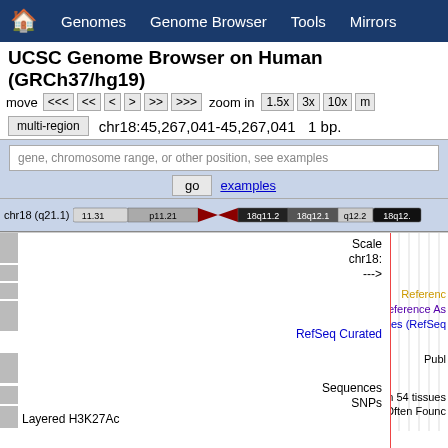Home  Genomes  Genome Browser  Tools  Mirrors
UCSC Genome Browser on Human (GRCh37/hg19)
move  <<<  <<  <  >  >>  >>>  zoom in  1.5x  3x  10x
multi-region  chr18:45,267,041-45,267,041  1 bp.
gene, chromosome range, or other position, see examples
go  examples
[Figure (other): Chromosome 18 ideogram showing q21.1 position with banding pattern including regions 11.31, p11.21, 18q11.2, 18q12.1, q12.2, 18q12]
[Figure (other): UCSC Genome Browser track area showing Scale, chr18, arrow, RefSeq Curated, Sequences SNPs, Layered H3K27Ac labels on left side, and Reference, Reference Assembly, UCSC Genes (RefSeq), Publ, Gene Expression in 54 tissues, H3K27Ac Mark (Often Found) on right side with vertical gridlines]